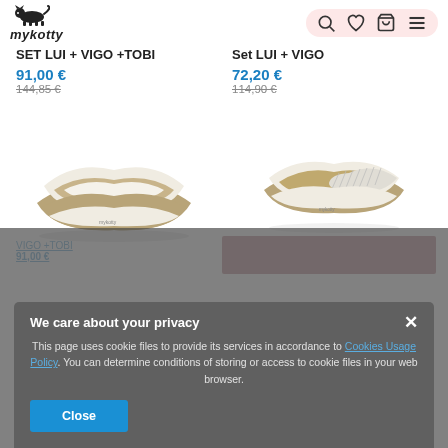[Figure (screenshot): mykotty cat logo — small black cat silhouette walking]
mykotty
[Figure (screenshot): Header icons: search (magnifier), heart (wishlist), bag (cart), hamburger menu]
SET LUI + VIGO +TOBI
Set LUI + VIGO
91,00 €
144,85 €
72,20 €
114,90 €
[Figure (photo): White and tan/beige curved cat scratcher board (LUI+VIGO+TOBI set) — bowtie/wave shaped, side angle view]
[Figure (photo): White and tan/beige curved cat scratcher board (LUI+VIGO set) — bowtie/wave shaped, top angle view with scratch texture visible]
We care about your privacy
This page uses cookie files to provide its services in accordance to Cookies Usage Policy. You can determine conditions of storing or access to cookie files in your web browser.
Close